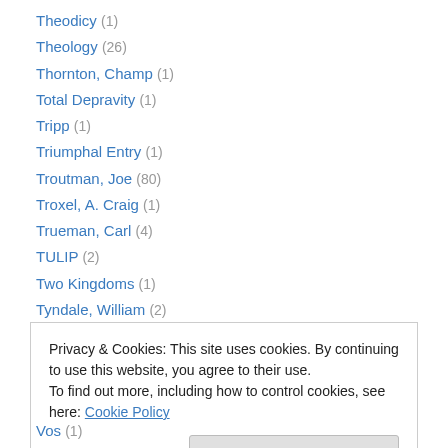Theodicy (1)
Theology (26)
Thornton, Champ (1)
Total Depravity (1)
Tripp (1)
Triumphal Entry (1)
Troutman, Joe (80)
Troxel, A. Craig (1)
Trueman, Carl (4)
TULIP (2)
Two Kingdoms (1)
Tyndale, William (2)
Typology (1)
Privacy & Cookies: This site uses cookies. By continuing to use this website, you agree to their use. To find out more, including how to control cookies, see here: Cookie Policy
Vos (1)